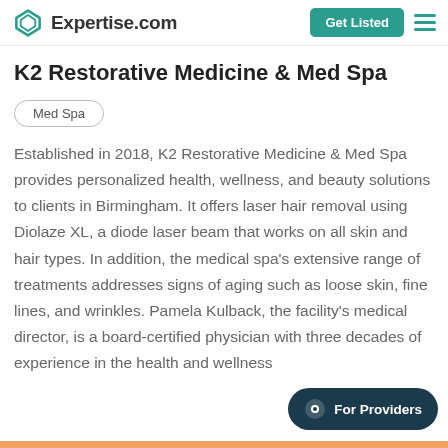Expertise.com — Get Listed
K2 Restorative Medicine & Med Spa
Med Spa
Established in 2018, K2 Restorative Medicine & Med Spa provides personalized health, wellness, and beauty solutions to clients in Birmingham. It offers laser hair removal using Diolaze XL, a diode laser beam that works on all skin and hair types. In addition, the medical spa's extensive range of treatments addresses signs of aging such as loose skin, fine lines, and wrinkles. Pamela Kulback, the facility's medical director, is a board-certified physician with three decades of experience in the health and wellness
For Providers